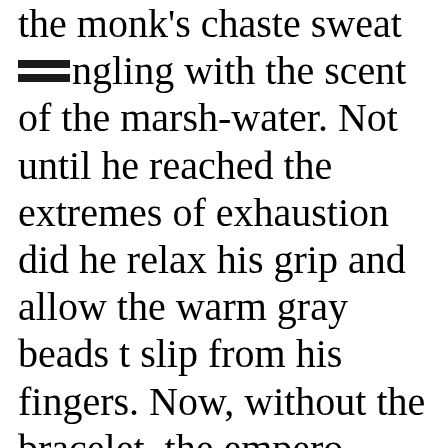the monk's chaste sweat mingling with the scent of the marsh-water. Not until he reached the extremes of exhaustion did he relax his grip and allow the warm gray beads to slip from his fingers. Now, without the bracelet, the emperor became agitated. He wanted to leave his chamber, ascend the throne, and begin ordering peop